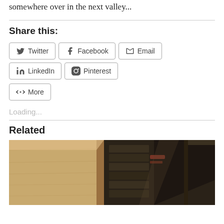somewhere over in the next valley...
Share this:
Twitter Facebook Email LinkedIn Pinterest More
Loading...
Related
[Figure (photo): A photo showing a wooden structure with plywood panels on the left and dark wooden construction with metal elements on the right, appears to be a building or shed under construction or being loaded.]